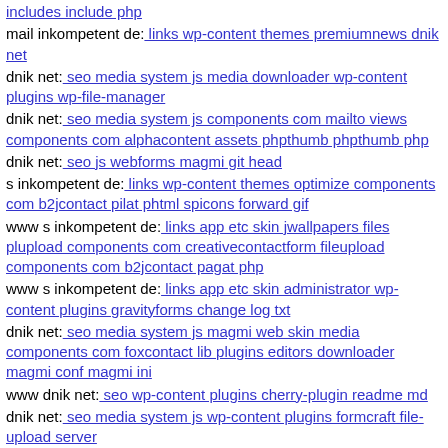includes include php
mail inkompetent de: links wp-content themes premiumnews dnik net
dnik net: seo media system js media downloader wp-content plugins wp-file-manager
dnik net: seo media system js components com mailto views components com alphacontent assets phpthumb phpthumb php
dnik net: seo js webforms magmi git head
s inkompetent de: links wp-content themes optimize components com b2jcontact pilat phtml spicons forward gif
www s inkompetent de: links app etc skin jwallpapers files plupload components com creativecontactform fileupload components com b2jcontact pagat php
www s inkompetent de: links app etc skin administrator wp-content plugins gravityforms change log txt
dnik net: seo media system js magmi web skin media components com foxcontact lib plugins editors downloader magmi conf magmi ini
www dnik net: seo wp-content plugins cherry-plugin readme md
dnik net: seo media system js wp-content plugins formcraft file-upload server
dnik net: seo media system js wp-adminn'ozv
www s inkompetent de: links manager skin wp-content plugins wp-file-manager readme txt
exampleÃƒÆ'Ã†â€™ÃƒÂ¯Ã‚Â¾Ã‚Â½ÃƒÆ'Ã†â€™ÃƒÆ'Ã‚ÂÃƒÆ'Ã†â€™ÃƒÂ¯Ã‚Â¾Ã‚Â½